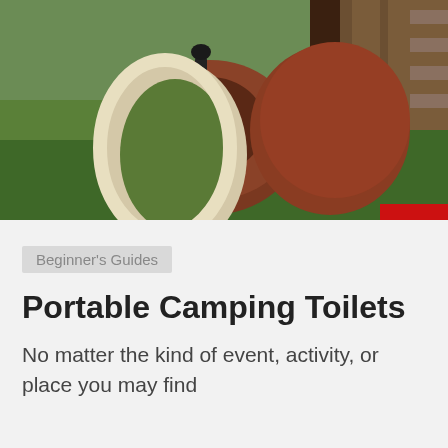[Figure (photo): Outdoor photo showing disassembled portable camping toilet parts — a white oval toilet seat and brown plastic toilet body pieces lying on green grass near a wooden structure. A small red rectangle is visible in the bottom-right corner of the image.]
Beginner's Guides
Portable Camping Toilets
No matter the kind of event, activity, or place you may find